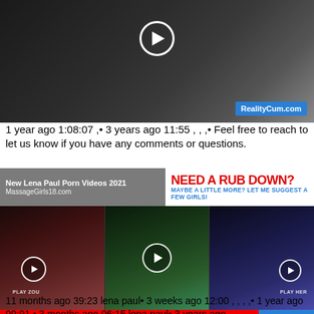[Figure (screenshot): Video thumbnail from RealityCum.com showing a kitchen scene]
1 year ago 1:08:07 ,• 3 years ago 11:55 , , ,• Feel free to reach to let us know if you have any comments or questions.
[Figure (screenshot): Ad banner: MassageGirls18.com on left, NEED A RUB DOWN? MAYBE A LITTLE MORE? LET ME SUGGEST A FEW GIRLS! on right]
[Figure (screenshot): Video grid with three video thumbnails showing women, with play buttons labeled PLAY ZOU and PLAY HER]
11 months ago 39:23 lena paul• 3 weeks ago 12:00 , , , ,• 1 year ago 99:91 • 3 months ago 06:15 lena paul• 3 years ago